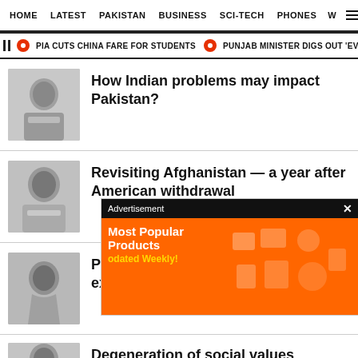HOME  LATEST  PAKISTAN  BUSINESS  SCI-TECH  PHONES  W  ☰
PIA CUTS CHINA FARE FOR STUDENTS  PUNJAB MINISTER DIGS OUT 'EVIDEN
How Indian problems may impact Pakistan?
Revisiting Afghanistan — a year after American withdrawal
Pakistan: a th... experiment
Degeneration of social values